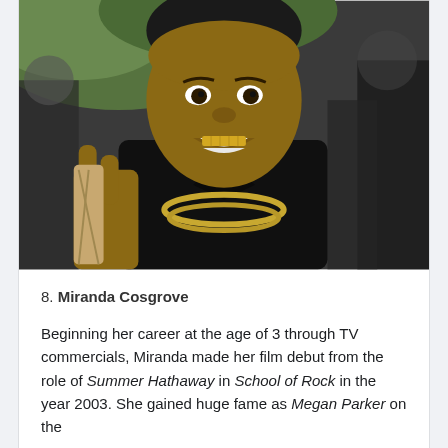[Figure (photo): Young man smiling with gold grillz on teeth, wearing a black jacket and gold chain necklace, making a hand gesture, at what appears to be a formal event with blurred people in background.]
8. Miranda Cosgrove
Beginning her career at the age of 3 through TV commercials, Miranda made her film debut from the role of Summer Hathaway in School of Rock in the year 2003. She gained huge fame as Megan Parker on the